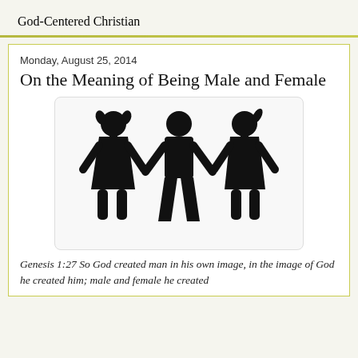God-Centered Christian
Monday, August 25, 2014
On the Meaning of Being Male and Female
[Figure (illustration): Silhouette icons of two female figures (with pigtails/ponytail) flanking a male figure in the center, all black on white background, representing male and female genders.]
Genesis 1:27  So God created man in his own image, in the image of God he created him; male and female he created